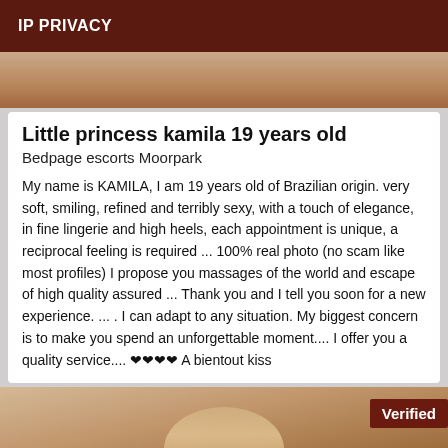IP PRIVACY
[Figure (photo): Partial photo used as top banner image, brownish tones]
Little princess kamila 19 years old
Bedpage escorts Moorpark
My name is KAMILA, I am 19 years old of Brazilian origin. very soft, smiling, refined and terribly sexy, with a touch of elegance, in fine lingerie and high heels, each appointment is unique, a reciprocal feeling is required ... 100% real photo (no scam like most profiles) I propose you massages of the world and escape of high quality assured ... Thank you and I tell you soon for a new experience. ... . I can adapt to any situation. My biggest concern is to make you spend an unforgettable moment.... I offer you a quality service.... ❤❤❤❤ A bientout kiss
[Figure (photo): Bottom photo showing decorative rope/chain jewelry detail, with Verified badge overlay]